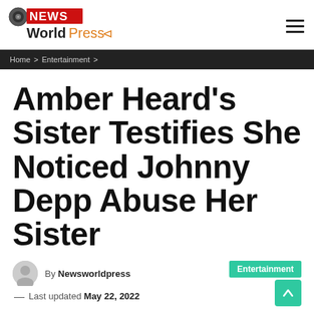NEWS World Press
Home > Entertainment >
Amber Heard's Sister Testifies She Noticed Johnny Depp Abuse Her Sister
By Newsworldpress
— Last updated May 22, 2022